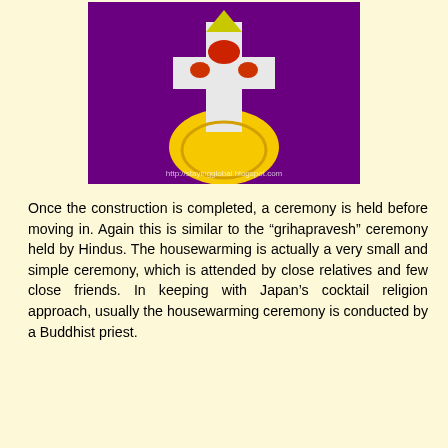[Figure (photo): A colorful decorative banner or flag with symbols including a cross and yellow/gold design elements, against a purple background. Watermark text: http://stayingglobal.blogspot.com]
Once the construction is completed, a ceremony is held before moving in. Again this is similar to the “grihapravesh” ceremony held by Hindus. The housewarming is actually a very small and simple ceremony, which is attended by close relatives and few close friends. In keeping with Japan’s cocktail religion approach, usually the housewarming ceremony is conducted by a Buddhist priest.
[Figure (photo): A Buddhist priest in ornate robes performing a ceremony inside a room with wooden walls and panels.]